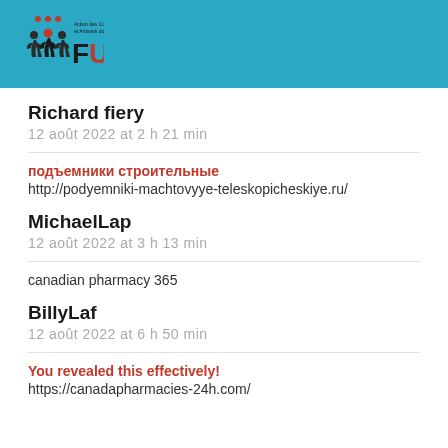[Figure (logo): FUCAT organization logo with stylized figures and text on teal/cyan header bar]
Richard fiery
12 août 2022 at 2 h 21 min
подъемники строительные
http://podyemniki-machtovyye-teleskopicheskiye.ru/
MichaelLap
12 août 2022 at 3 h 13 min
canadian pharmacy 365
BillyLaf
12 août 2022 at 6 h 50 min
You revealed this effectively!
https://canadapharmacies-24h.com/